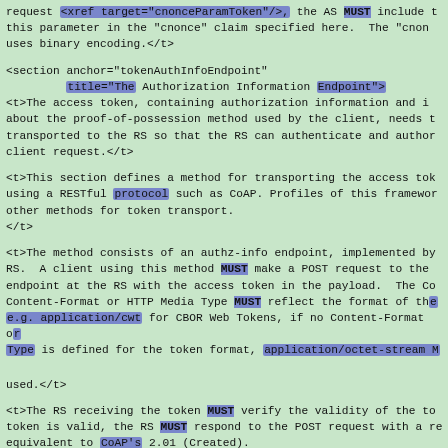request <xref target="cnonceParamToken"/>, the AS MUST include this parameter in the "cnonce" claim specified here.  The "cnonce" uses binary encoding.</t>
<section anchor="tokenAuthInfoEndpoint"
         title="The Authorization Information Endpoint">
<t>The access token, containing authorization information and information about the proof-of-possession method used by the client, needs to be transported to the RS so that the RS can authenticate and authorize the client request.</t>
<t>This section defines a method for transporting the access token using a RESTful protocol such as CoAP. Profiles of this framework may define other methods for token transport.
</t>
<t>The method consists of an authz-info endpoint, implemented by the RS.  A client using this method MUST make a POST request to the authz-info endpoint at the RS with the access token in the payload.  The Content-Format or HTTP Media Type MUST reflect the format of the token, e.g. application/cwt for CBOR Web Tokens, if no Content-Format or Media Type is defined for the token format, application/octet-stream MUST be

used.</t>
<t>The RS receiving the token MUST verify the validity of the token. If the token is valid, the RS MUST respond to the POST request with a response equivalent to CoAP's 2.01 (Created).
<xref target="verifyToken"/> outlines how an RS MUST proceed to verify the


validity of an access token.</t>
<t>The RS MUST be prepared to store at least one access token for later use. This is a difference to how access tokens are handled in OAuth